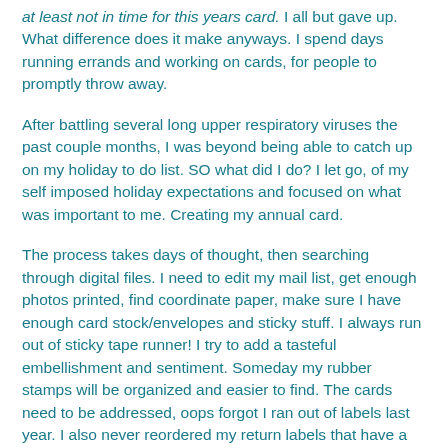at least not in time for this years card. I all but gave up. What difference does it make anyways. I spend days running errands and working on cards, for people to promptly throw away.
After battling several long upper respiratory viruses the past couple months, I was beyond being able to catch up on my holiday to do list. SO what did I do? I let go, of my self imposed holiday expectations and focused on what was important to me. Creating my annual card.
The process takes days of thought, then searching through digital files. I need to edit my mail list, get enough photos printed, find coordinate paper, make sure I have enough card stock/envelopes and sticky stuff. I always run out of sticky tape runner! I try to add a tasteful embellishment and sentiment. Someday my rubber stamps will be organized and easier to find. The cards need to be addressed, oops forgot I ran out of labels last year. I also never reordered my return labels that have a typo, so hand writing both on around 40 cards it is. Oh yea, I can't forget to buy postage stamps!